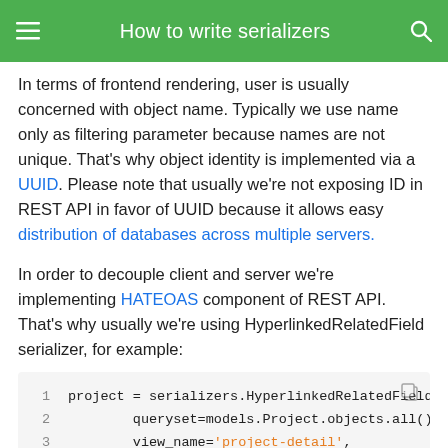How to write serializers
In terms of frontend rendering, user is usually concerned with object name. Typically we use name only as filtering parameter because names are not unique. That's why object identity is implemented via a UUID. Please note that usually we're not exposing ID in REST API in favor of UUID because it allows easy distribution of databases across multiple servers.
In order to decouple client and server we're implementing HATEOAS component of REST API. That's why usually we're using HyperlinkedRelatedField serializer, for example:
[Figure (screenshot): Code block showing Python Django REST framework serializer code with 5 lines: project = serializers.HyperlinkedRelatedField( queryset=models.Project.objects.all(), view_name='project-detail', lookup_field='uuid', write_only=True)]